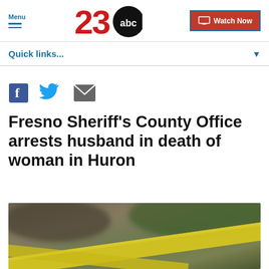Menu | 23ABC | Watch Now
Quick links...
[Figure (other): Social share icons: Facebook, Twitter, Email]
Fresno Sheriff's County Office arrests husband in death of woman in Huron
[Figure (photo): Blurred photo of yellow crime scene tape in foreground with green foliage in background]